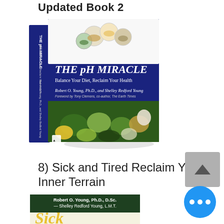Updated Book 2
[Figure (photo): Book cover of 'The pH Miracle: Balance Your Diet, Reclaim Your Health' by Robert O. Young, Ph.D., and Shelley Redford Young. Dark blue spine on left, cover shows bowls of spices/grains at top and fresh vegetables/produce at bottom.]
8) Sick and Tired Reclaim Your Inner Terrain
[Figure (photo): Top portion of book cover for 'Sick and Tired: Reclaim Your Inner Terrain' by Robert O. Young, Ph.D., D.Sc. and Shelley Redford Young, L.M.T. Dark green header with author names, and large stylized yellow letters visible at bottom.]